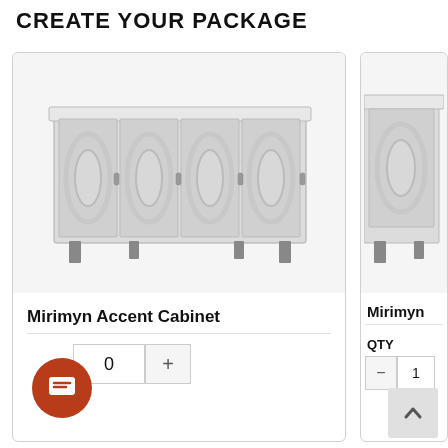CREATE YOUR PACKAGE
[Figure (photo): Mirimyn Accent Cabinet - a wide white/antique finished sideboard with four decorative mirrored doors featuring ornate oval fretwork designs and small metal handles, on tapered legs]
Mirimyn Accent Cabinet
0
[Figure (photo): Mirimyn (partial view) - antique white accent cabinet, partially cropped on the right side of the page]
Mirimyn
QTY
-  1